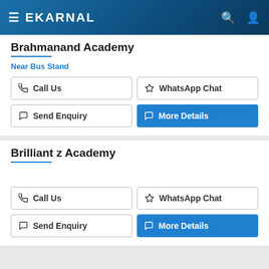eKarnal
Brahmanand Academy
Near Bus Stand
Call Us | WhatsApp Chat | Send Enquiry | More Details
Brilliant z Academy
Call Us | WhatsApp Chat | Send Enquiry | More Details